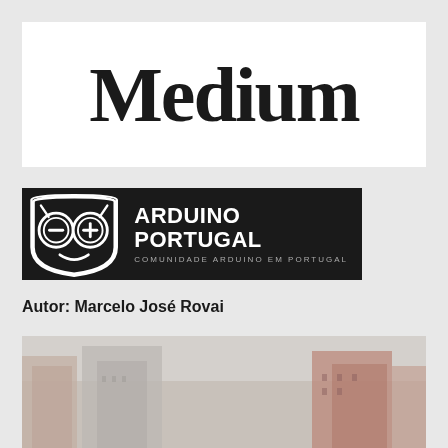[Figure (logo): Medium logo — white background rectangle with the word 'Medium' in large bold serif font]
[Figure (logo): Arduino Portugal banner — black background with owl mascot logo (circles with minus and plus signs) and text 'ARDUINO PORTUGAL' with subtitle 'COMUNIDADE ARDUINO EM PORTUGAL']
Autor: Marcelo José Rovai
[Figure (photo): Blurred street-level photo of city buildings]